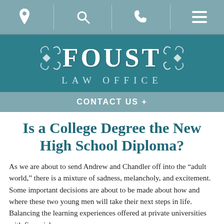Navigation bar with location, search, phone, and menu icons
[Figure (logo): Foust Law Office logo — decorative serif FOUST text with ornamental flourishes on teal background, with LAW OFFICE subtitle]
CONTACT US +
Is a College Degree the New High School Diploma?
As we are about to send Andrew and Chandler off into the “adult world,” there is a mixture of sadness, melancholy, and excitement.  Some important decisions are about to be made about how and where these two young men will take their next steps in life. Balancing the learning experiences offered at private universities with financial